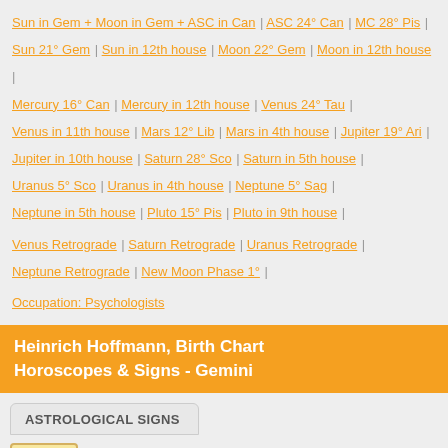Sun in Gem + Moon in Gem + ASC in Can | ASC 24° Can | MC 28° Pis |
Sun 21° Gem | Sun in 12th house | Moon 22° Gem | Moon in 12th house | Mercury 16° Can | Mercury in 12th house | Venus 24° Tau | Venus in 11th house | Mars 12° Lib | Mars in 4th house | Jupiter 19° Ari | Jupiter in 10th house | Saturn 28° Sco | Saturn in 5th house | Uranus 5° Sco | Uranus in 4th house | Neptune 5° Sag | Neptune in 5th house | Pluto 15° Pis | Pluto in 9th house |
Venus Retrograde | Saturn Retrograde | Uranus Retrograde | Neptune Retrograde | New Moon Phase 1° |
Occupation: Psychologists
Heinrich Hoffmann, Birth Chart Horoscopes & Signs - Gemini
ASTROLOGICAL SIGNS
Sun in Gemini 21°43'